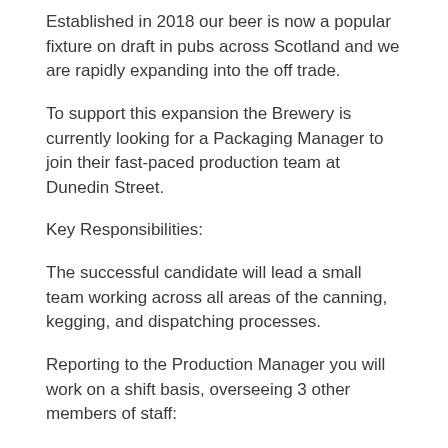Established in 2018 our beer is now a popular fixture on draft in pubs across Scotland and we are rapidly expanding into the off trade.
To support this expansion the Brewery is currently looking for a Packaging Manager to join their fast-paced production team at Dunedin Street.
Key Responsibilities:
The successful candidate will lead a small team working across all areas of the canning, kegging, and dispatching processes.
Reporting to the Production Manager you will work on a shift basis, overseeing 3 other members of staff:
Completing/overseeing canning runs on our